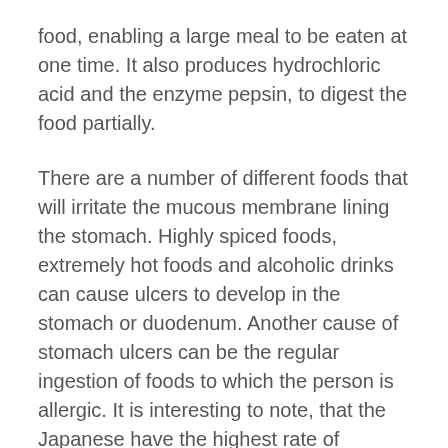food, enabling a large meal to be eaten at one time. It also produces hydrochloric acid and the enzyme pepsin, to digest the food partially.
There are a number of different foods that will irritate the mucous membrane lining the stomach. Highly spiced foods, extremely hot foods and alcoholic drinks can cause ulcers to develop in the stomach or duodenum. Another cause of stomach ulcers can be the regular ingestion of foods to which the person is allergic. It is interesting to note, that the Japanese have the highest rate of stomach cancer in the world, due to the high salt content in their diet.
Dr James Brennan, in his book, Basics of Food Allergy, says that some ulcers are actually a symptom of milk allergy. He discovered this after treating a patient of his who had a duodenal ulcer for over ten years. He found that, by putting his patient on a diet which excluded